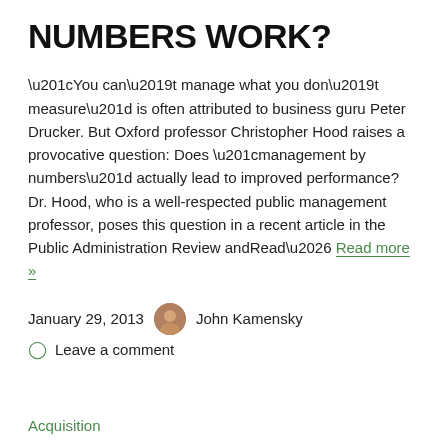NUMBERS WORK?
“You can’t manage what you don’t measure” is often attributed to business guru Peter Drucker. But Oxford professor Christopher Hood raises a provocative question: Does “management by numbers” actually lead to improved performance? Dr. Hood, who is a well-respected public management professor, poses this question in a recent article in the Public Administration Review andRead… Read more »
January 29, 2013   John Kamensky
Leave a comment
Acquisition